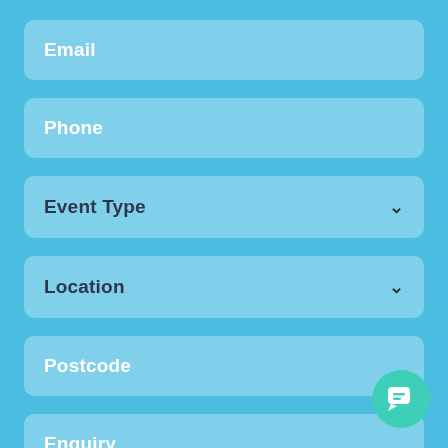[Figure (screenshot): A mobile form UI with a teal/sky-blue background containing form fields: Email (text input), Phone (text input), Event Type (dropdown), Location (dropdown), Postcode (text input), Enquiry (text input, partially visible). A teal chat button is visible in the bottom-right corner.]
Email
Phone
Event Type
Location
Postcode
Enquiry